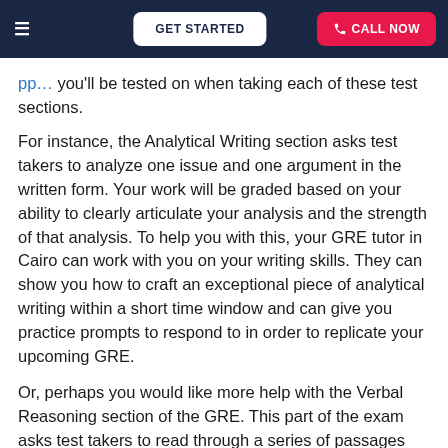GET STARTED | CALL NOW
you'll be tested on when taking each of these test sections.
For instance, the Analytical Writing section asks test takers to analyze one issue and one argument in the written form. Your work will be graded based on your ability to clearly articulate your analysis and the strength of that analysis. To help you with this, your GRE tutor in Cairo can work with you on your writing skills. They can show you how to craft an exceptional piece of analytical writing within a short time window and can give you practice prompts to respond to in order to replicate your upcoming GRE.
Or, perhaps you would like more help with the Verbal Reasoning section of the GRE. This part of the exam asks test takers to read through a series of passages